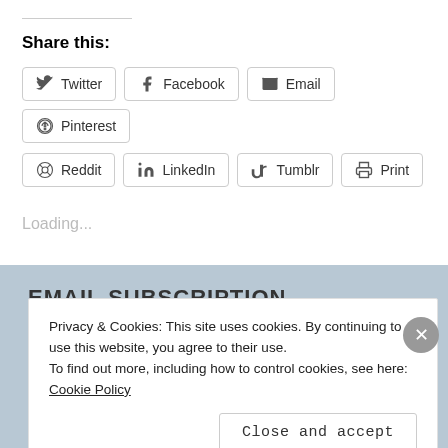Share this:
Twitter
Facebook
Email
Pinterest
Reddit
LinkedIn
Tumblr
Print
Loading...
EMAIL SUBSCRIPTION
Privacy & Cookies: This site uses cookies. By continuing to use this website, you agree to their use.
To find out more, including how to control cookies, see here: Cookie Policy
Close and accept